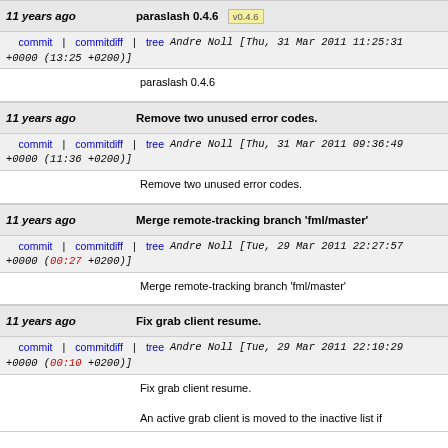11 years ago | paraslash 0.4.6 v0.4.6
commit | commitdiff | tree Andre Noll [Thu, 31 Mar 2011 11:25:31 +0000 (13:25 +0200)]
paraslash 0.4.6
11 years ago | Remove two unused error codes.
commit | commitdiff | tree Andre Noll [Thu, 31 Mar 2011 09:36:49 +0000 (11:36 +0200)]
Remove two unused error codes.
11 years ago | Merge remote-tracking branch 'fml/master'
commit | commitdiff | tree Andre Noll [Tue, 29 Mar 2011 22:27:57 +0000 (00:27 +0200)]
Merge remote-tracking branch 'fml/master'
11 years ago | Fix grab client resume.
commit | commitdiff | tree Andre Noll [Tue, 29 Mar 2011 22:10:29 +0000 (00:10 +0200)]
Fix grab client resume.
An active grab client is moved to the inactive list if